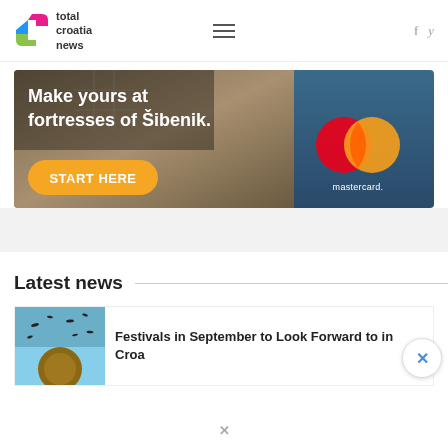total croatia news
[Figure (photo): Mastercard advertisement banner: Make yours at fortresses of Šibenik. START HERE button. Mastercard logo.]
Latest news
[Figure (photo): Thumbnail image of birds flying around a structure, for article about Festivals in September to Look Forward to in Croatia]
Festivals in September to Look Forward to in Croa